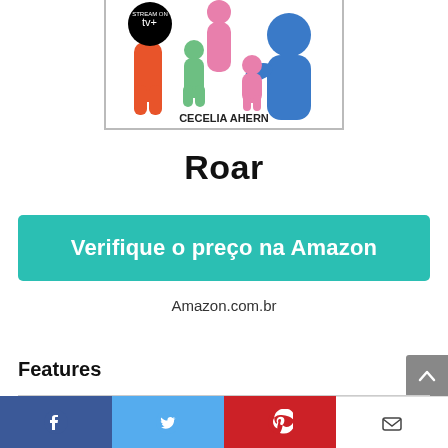[Figure (illustration): Book cover for 'Roar' by Cecelia Ahern, showing colorful figures, with Apple TV+ streaming label at top-left]
Roar
Verifique o preço na Amazon
Amazon.com.br
Features
|  |  |
| --- | --- |
| Is Adult Product |  |
| Edition | Illustrated |